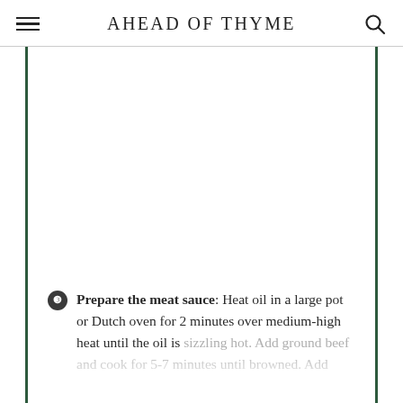AHEAD OF THYME
[Figure (photo): White/blank image area between green border bars]
Prepare the meat sauce: Heat oil in a large pot or Dutch oven for 2 minutes over medium-high heat until the oil is sizzling hot. Add ground beef and cook for 5-7 minutes until browned. Add